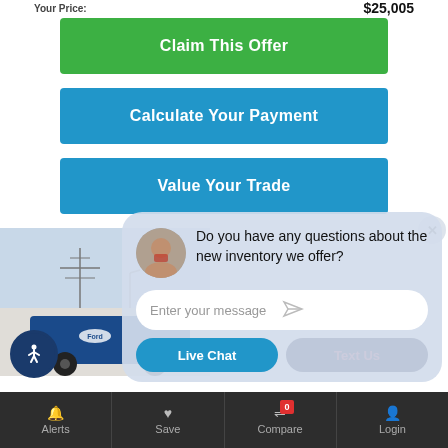Your Price: $25,005
Claim This Offer
Calculate Your Payment
Value Your Trade
[Figure (screenshot): Partial view of a Ford vehicle photo with power lines in background]
[Figure (screenshot): Chat widget overlay with avatar, message 'Do you have any questions about the new inventory we offer?', message input field, Live Chat and Text Us buttons]
Alerts  Save  Compare 0  Login